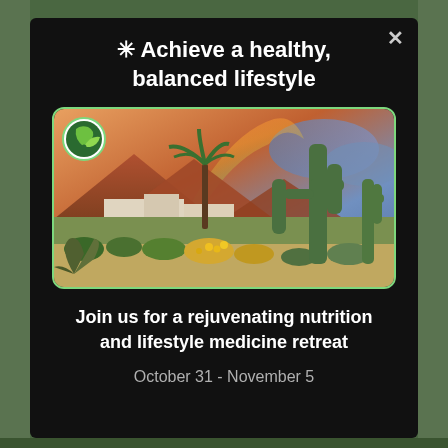✳ Achieve a healthy, balanced lifestyle
[Figure (photo): Desert landscape with saguaro cactus, palm tree, mountains, rainbow, and colorful sunset sky with a building in the foreground and desert vegetation. A green leaf logo badge is in the top-left corner.]
Join us for a rejuvenating nutrition and lifestyle medicine retreat
October 31 - November 5